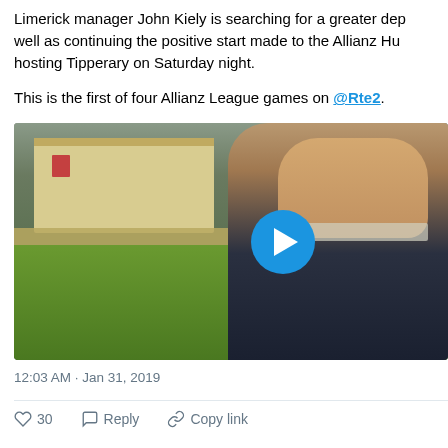Limerick manager John Kiely is searching for a greater dep well as continuing the positive start made to the Allianz Hu hosting Tipperary on Saturday night.
This is the first of four Allianz League games on @Rte2.
[Figure (screenshot): Video thumbnail showing a man outdoors with trees and a building in the background, with a blue play button overlay]
12:03 AM · Jan 31, 2019
30   Reply   Copy link